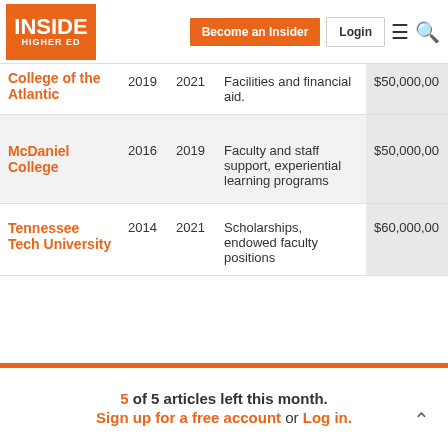INSIDE HIGHER ED | Become an Insider | Login
| Institution | Start | End | Purpose | Amount |
| --- | --- | --- | --- | --- |
| College of the Atlantic | 2019 | 2021 | Facilities and financial aid. | $50,000,00 |
| McDaniel College | 2016 | 2019 | Faculty and staff support, experiential learning programs | $50,000,00 |
| Tennessee Tech University | 2014 | 2021 | Scholarships, endowed faculty positions | $60,000,00 |
5 of 5 articles left this month. Sign up for a free account or Log in.